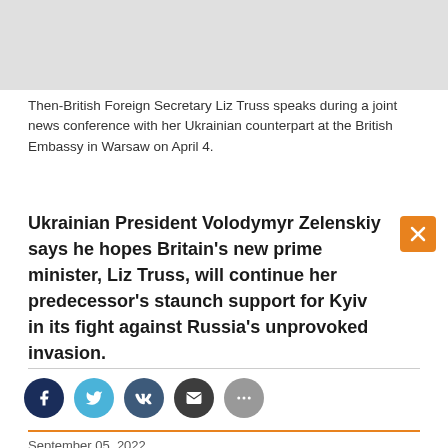[Figure (photo): Gray placeholder image at top of page, partially visible]
Then-British Foreign Secretary Liz Truss speaks during a joint news conference with her Ukrainian counterpart at the British Embassy in Warsaw on April 4.
Ukrainian President Volodymyr Zelenskiy says he hopes Britain's new prime minister, Liz Truss, will continue her predecessor's staunch support for Kyiv in its fight against Russia's unprovoked invasion.
September 05, 2022